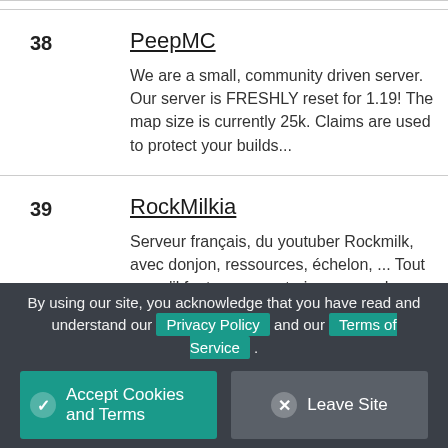| # | Server | Description |
| --- | --- | --- |
| 38 | PeepMC | We are a small, community driven server. Our server is FRESHLY reset for 1.19! The map size is currently 25k. Claims are used to protect your builds... |
| 39 | RockMilkia | Serveur français, du youtuber Rockmilk, avec donjon, ressources, échelon, ... Tout ce qu'il faut pour construire un monde entre amis. English:... |
| 40 | Shroomia |  |
By using our site, you acknowledge that you have read and understand our Privacy Policy and our Terms of Service.
Accept Cookies and Terms
Leave Site